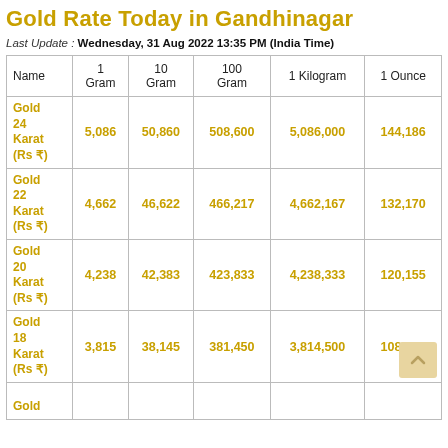Gold Rate Today in Gandhinagar
Last Update : Wednesday, 31 Aug 2022 13:35 PM (India Time)
| Name | 1 Gram | 10 Gram | 100 Gram | 1 Kilogram | 1 Ounce |
| --- | --- | --- | --- | --- | --- |
| Gold 24 Karat (Rs ₹) | 5,086 | 50,860 | 508,600 | 5,086,000 | 144,186 |
| Gold 22 Karat (Rs ₹) | 4,662 | 46,622 | 466,217 | 4,662,167 | 132,170 |
| Gold 20 Karat (Rs ₹) | 4,238 | 42,383 | 423,833 | 4,238,333 | 120,155 |
| Gold 18 Karat (Rs ₹) | 3,815 | 38,145 | 381,450 | 3,814,500 | 108,139 |
| Gold … |  |  |  |  |  |